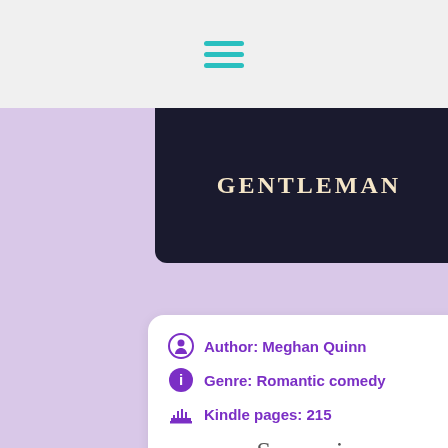≡ (hamburger menu icon)
[Figure (photo): Partial book cover showing text 'GENTLEMAN' in gold letters on dark background with a figure in black clothing]
Author: Meghan Quinn
Genre: Romantic comedy
Kindle pages: 215
Synopsis